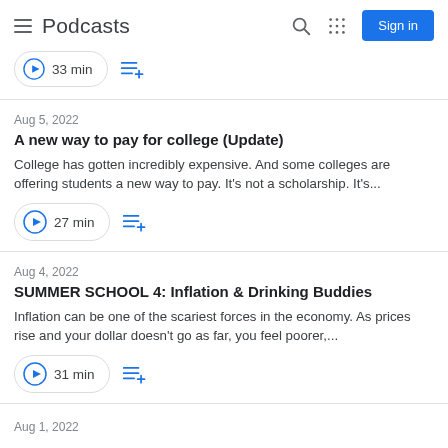Podcasts
33 min
Aug 5, 2022
A new way to pay for college (Update)
College has gotten incredibly expensive. And some colleges are offering students a new way to pay. It's not a scholarship. It's...
27 min
Aug 4, 2022
SUMMER SCHOOL 4: Inflation & Drinking Buddies
Inflation can be one of the scariest forces in the economy. As prices rise and your dollar doesn't go as far, you feel poorer,...
31 min
Aug 1, 2022